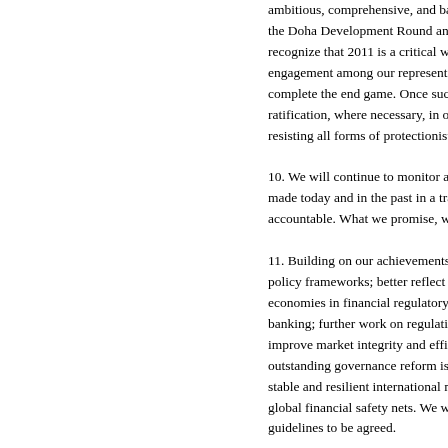ambitious, comprehensive, and balanced conclusion to the Doha Development Round and build on it. We recognize that 2011 is a critical window. High-level engagement among our representatives is necessary to complete the end game. Once such an agreement is reached: ratification, where necessary, in our respective bodies; and resisting all forms of protectionist measures.

10. We will continue to monitor and assess the commitments made today and in the past in a transparent manner, and be accountable. What we promise, we will deliver.

11. Building on our achievements to date: strengthen our policy frameworks; better reflect the participation of emerging economies in financial regulatory reform; complete shadow banking; further work on regulation and supervision to improve market integrity and efficiency; address outstanding governance reform issues; build toward a more stable and resilient international monetary system; strengthen global financial safety nets. We will act according to the guidelines to be agreed.

12. To promote resilience, job creation and growth, we take action under the Seoul Consensus on...